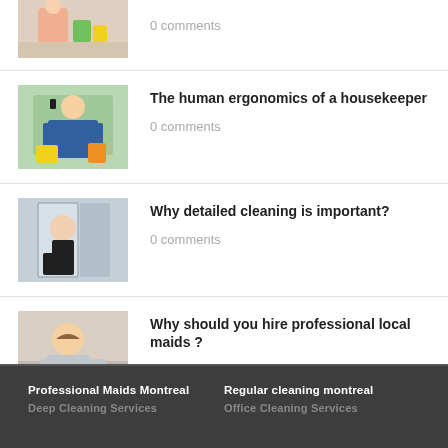[Figure (photo): Thumbnail image of cleaning supplies/person at top of list]
0 comments
[Figure (photo): Thumbnail of housekeeper in blue overalls with cleaning supplies]
The human ergonomics of a housekeeper
0 comments
[Figure (photo): Thumbnail of person cleaning near glass/shower door]
Why detailed cleaning is important?
0 comments
[Figure (photo): Thumbnail of smiling woman with yellow gloves]
Why should you hire professional local maids ?
0 comments
Professional Maids Montreal   Regular cleaning montreal   Deep Cleaning Services   Office Cleaning Services